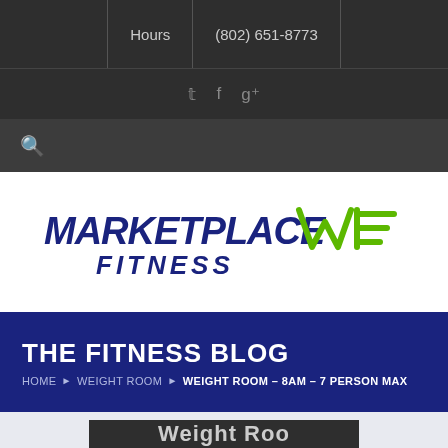Hours | (802) 651-8773
[Figure (logo): Marketplace Fitness logo with green MF icon and blue text]
THE FITNESS BLOG
HOME › WEIGHT ROOM › WEIGHT ROOM – 8AM – 7 PERSON MAX
Weight Room